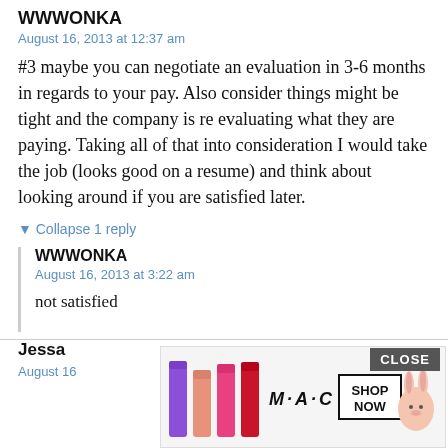WWWONKA
August 16, 2013 at 12:37 am
#3 maybe you can negotiate an evaluation in 3-6 months in regards to your pay. Also consider things might be tight and the company is re evaluating what they are paying. Taking all of that into consideration I would take the job (looks good on a resume) and think about looking around if you are satisfied later.
▼ Collapse 1 reply
WWWONKA
August 16, 2013 at 3:22 am
not satisfied
Jessa
August 16
[Figure (other): Advertisement showing MAC lipsticks in purple, pink, hot pink, and red colors with MAC logo and SHOP NOW button, with a rabbit icon, and a CLOSE button overlay]
CLOSE